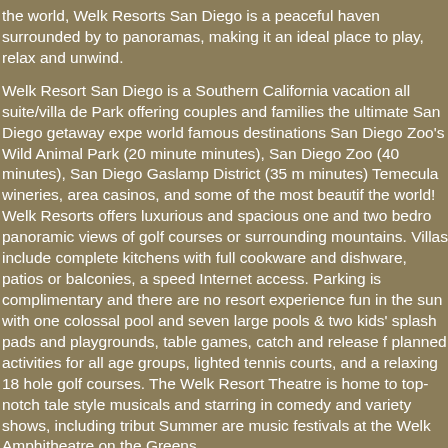the world, Welk Resorts San Diego is a peaceful haven surrounded by to panoramas, making it an ideal place to play, relax and unwind.
Welk Resort San Diego is a Southern California vacation all suite/villa de Park offering couples and families the ultimate San Diego getaway expe world famous destinations San Diego Zoo's Wild Animal Park (20 minute minutes), San Diego Zoo (40 minutes), San Diego Gaslamp District (35 m minutes) Temecula wineries, area casinos, and some of the most beautif the world! Welk Resorts offers luxurious and spacious one and two bedro panoramic views of golf courses or surrounding mountains. Villas include complete kitchens with full cookware and dishware, patios or balconies, a speed Internet access. Parking is complimentary and there are no resort experience fun in the sun with one colossal pool and seven large pools & two kids' splash pads and playgrounds, table games, catch and release f planned activities for all age groups, lighted tennis courts, and a relaxing 18 hole golf courses. The Welk Resort Theatre is home to top-notch tale style musicals and starring in comedy and variety shows, including tribut Summer are music festivals at the Welk Amphitheatre on the Greens
More resort details and photos >>
Reference Number: 35376